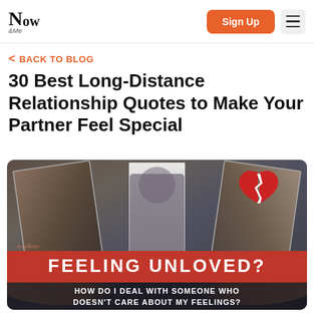Now & Me — Sign Up
< BACK TO BLOG
30 Best Long-Distance Relationship Quotes to Make Your Partner Feel Special
[Figure (photo): Hero image showing two hands tearing apart a photograph, with a broken red heart icon in the top right. A red banner reads 'FEELING UNLOVED?' and a dark sub-banner reads 'HOW DO I DEAL WITH SOMEONE WHO DOESN'T CARE ABOUT MY FEELINGS?'. Now&Me watermark in bottom left.]